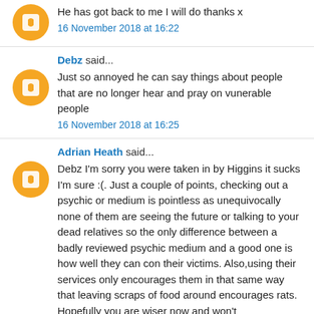He has got back to me I will do thanks x
16 November 2018 at 16:22
Debz said...
Just so annoyed he can say things about people that are no longer hear and pray on vunerable people
16 November 2018 at 16:25
Adrian Heath said...
Debz I'm sorry you were taken in by Higgins it sucks I'm sure :(. Just a couple of points, checking out a psychic or medium is pointless as unequivocally none of them are seeing the future or talking to your dead relatives so the only difference between a badly reviewed psychic medium and a good one is how well they can con their victims. Also,using their services only encourages them in that same way that leaving scraps of food around encourages rats. Hopefully you are wiser now and won't